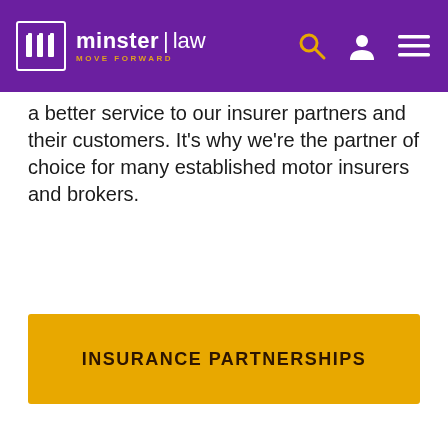minster law | MOVE FORWARD
a better service to our insurer partners and their customers. It's why we're the partner of choice for many established motor insurers and brokers.
INSURANCE PARTNERSHIPS
We use cookies to ensure that we give you the best experience on our website. To learn more, go to the Cookie Policy.
ACCEPT